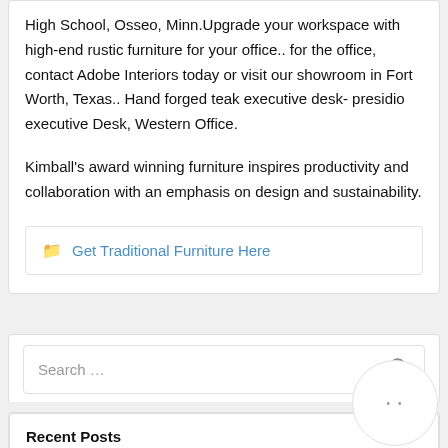High School, Osseo, Minn.Upgrade your workspace with high-end rustic furniture for your office.. for the office, contact Adobe Interiors today or visit our showroom in Fort Worth, Texas.. Hand forged teak executive desk- presidio executive Desk, Western Office.
Kimball's award winning furniture inspires productivity and collaboration with an emphasis on design and sustainability.
Get Traditional Furniture Here
Search ...
Recent Posts